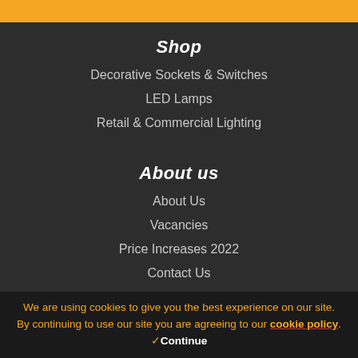Shop
Decorative Sockets & Switches
LED Lamps
Retail & Commercial Lighting
About us
About Us
Vacancies
Price Increases 2022
Contact Us
Our Policies
Terms & Conditions
We are using cookies to give you the best experience on our site. By continuing to use our site you are agreeing to our cookie policy. ✓Continue